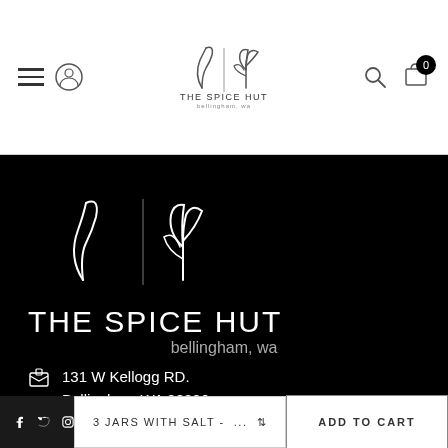[Figure (logo): The Spice Hut logo with chili and herb icons, text 'THE SPICE HUT bellingham, wa' in header]
[Figure (logo): The Spice Hut logo large white on black with chili and herb icons, 'THE SPICE HUT bellingham, wa']
131 W Kellogg RD.
Bellingham WA 98226
info@thespicehut.com
360 671-2800
3 JARS WITH SALT - ...
ADD TO CART